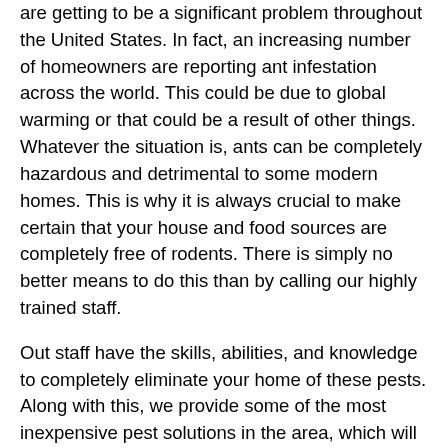are getting to be a significant problem throughout the United States. In fact, an increasing number of homeowners are reporting ant infestation across the world. This could be due to global warming or that could be a result of other things. Whatever the situation is, ants can be completely hazardous and detrimental to some modern homes. This is why it is always crucial to make certain that your house and food sources are completely free of rodents. There is simply no better means to do this than by calling our highly trained staff.
Out staff have the skills, abilities, and knowledge to completely eliminate your home of these pests. Along with this, we provide some of the most inexpensive pest solutions in the area, which will ensure that in the end of the day that your house is completely free of any pest infestation.
The Benefits That We Offer